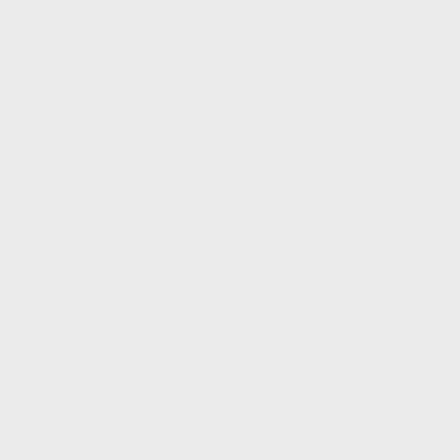doing SVD across training and test samples because this